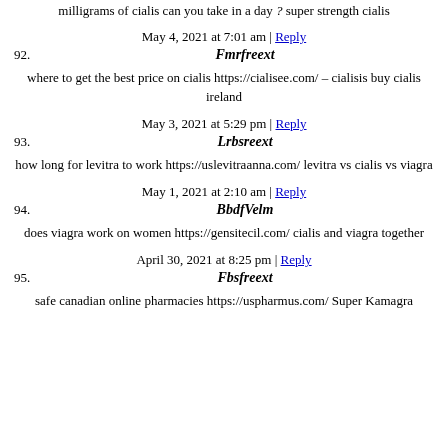milligrams of cialis can you take in a day ? super strength cialis
May 4, 2021 at 7:01 am | Reply
92. Fmrfreext
where to get the best price on cialis https://cialisee.com/ – cialisis buy cialis ireland
May 3, 2021 at 5:29 pm | Reply
93. Lrbsreext
how long for levitra to work https://uslevitraanna.com/ levitra vs cialis vs viagra
May 1, 2021 at 2:10 am | Reply
94. BbdfVelm
does viagra work on women https://gensitecil.com/ cialis and viagra together
April 30, 2021 at 8:25 pm | Reply
95. Fbsfreext
safe canadian online pharmacies https://uspharmus.com/ Super Kamagra